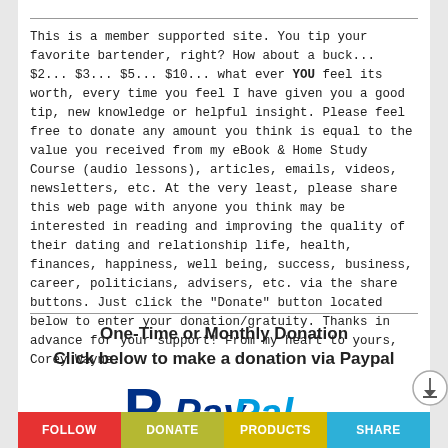This is a member supported site. You tip your favorite bartender, right? How about a buck... $2... $3... $5... $10... what ever YOU feel its worth, every time you feel I have given you a good tip, new knowledge or helpful insight. Please feel free to donate any amount you think is equal to the value you received from my eBook & Home Study Course (audio lessons), articles, emails, videos, newsletters, etc. At the very least, please share this web page with anyone you think may be interested in reading and improving the quality of their dating and relationship life, health, finances, happiness, well being, success, business, career, politicians, advisers, etc. via the share buttons. Just click the "Donate" button located below to enter your donation/gratuity. Thanks in advance for your support! From my heart to yours, Corey Wayne.
One-Time or Monthly Donation
Click below to make a donation via Paypal
[Figure (logo): PayPal logo with blue P symbol and PayPal wordmark in blue italic text]
FOLLOW  DONATE  PRODUCTS  SHARE